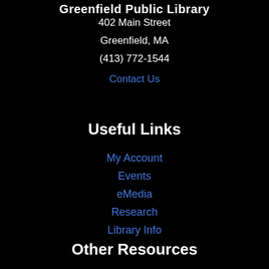Greenfield Public Library
402 Main Street
Greenfield, MA
(413) 772-1544
Contact Us
Useful Links
My Account
Events
eMedia
Research
Library Info
Other Resources